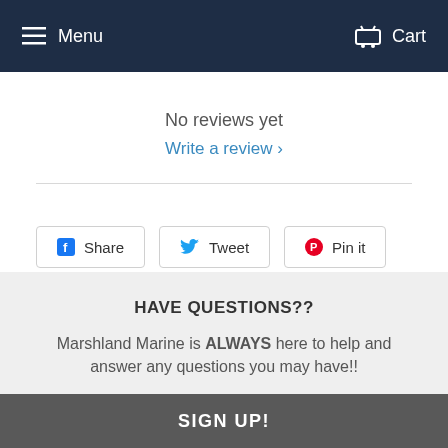Menu  Cart
No reviews yet
Write a review ›
Share  Tweet  Pin it
HAVE QUESTIONS??
Marshland Marine is ALWAYS here to help and answer any questions you may have!!
SIGN UP!